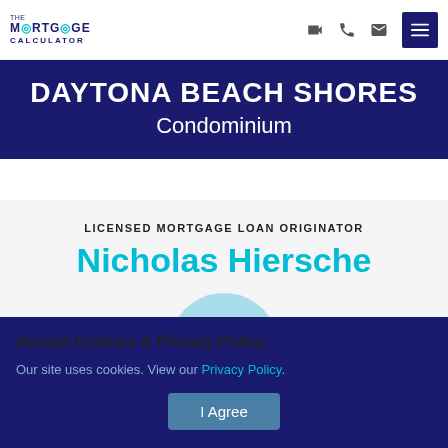[Figure (logo): The Mortgage Calculator logo with teal and navy text]
DAYTONA BEACH SHORES
Condominium
LICENSED MORTGAGE LOAN ORIGINATOR
Nicholas Hiersche
[Figure (photo): Circular headshot photo of Nicholas Hiersche with light blue background]
Accept Cookies & Privacy Policy
Our site uses cookies. View our Privacy Policy.
I Agree